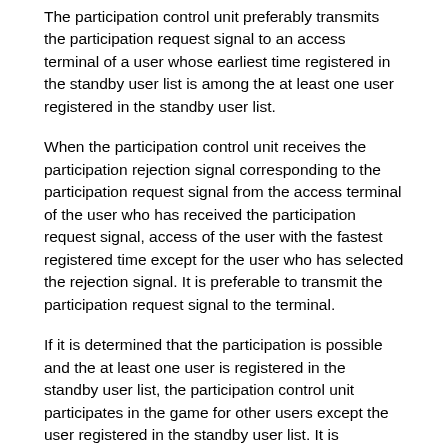The participation control unit preferably transmits the participation request signal to an access terminal of a user whose earliest time registered in the standby user list is among the at least one user registered in the standby user list.
When the participation control unit receives the participation rejection signal corresponding to the participation request signal from the access terminal of the user who has received the participation request signal, access of the user with the fastest registered time except for the user who has selected the rejection signal. It is preferable to transmit the participation request signal to the terminal.
If it is determined that the participation is possible and the at least one user is registered in the standby user list, the participation control unit participates in the game for other users except the user registered in the standby user list. It is desirable to set it to an impossible state.
If it is determined that the participation is impossible, the standby user manager transmits a standby request signal as a signal for requesting a user's access terminal to